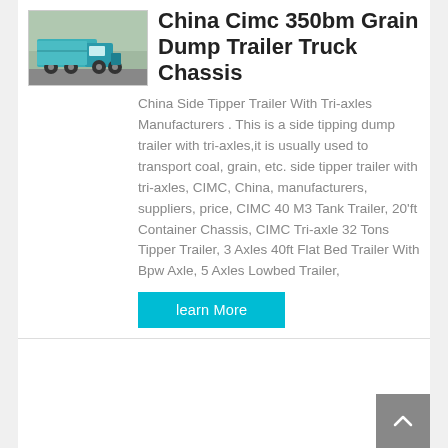[Figure (photo): Green/teal dump truck with grain dump trailer on a road, seen from the side-front angle.]
China Cimc 350bm Grain Dump Trailer Truck Chassis
China Side Tipper Trailer With Tri-axles Manufacturers . This is a side tipping dump trailer with tri-axles,it is usually used to transport coal, grain, etc. side tipper trailer with tri-axles, CIMC, China, manufacturers, suppliers, price, CIMC 40 M3 Tank Trailer, 20'ft Container Chassis, CIMC Tri-axle 32 Tons Tipper Trailer, 3 Axles 40ft Flat Bed Trailer With Bpw Axle, 5 Axles Lowbed Trailer,
learn More